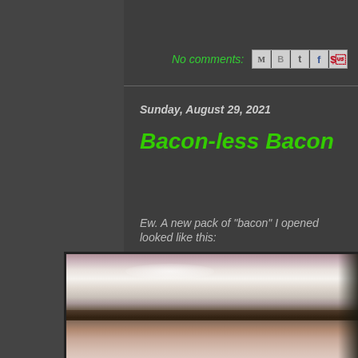No comments:
Sunday, August 29, 2021
Bacon-less Bacon
Ew. A new pack of "bacon" I opened looked like this:
[Figure (photo): Close-up photo of raw bacon strips showing pale fatty streaks and minimal meat, appearing nearly all white fat with very little red meat content.]